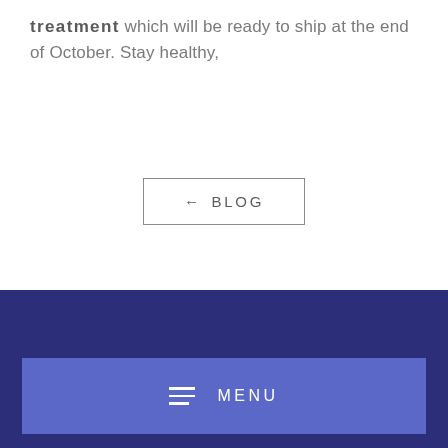treatment which will be ready to ship at the end of October. Stay healthy,
[Figure (other): Back to Blog button with left arrow, bordered rectangle, text '← BLOG']
MENU